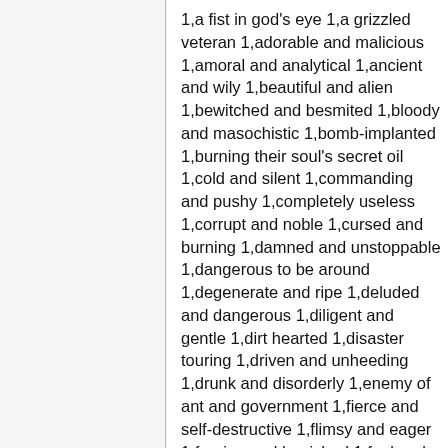1,a fist in god's eye 1,a grizzled veteran 1,adorable and malicious 1,amoral and analytical 1,ancient and wily 1,beautiful and alien 1,bewitched and besmited 1,bloody and masochistic 1,bomb-implanted 1,burning their soul's secret oil 1,cold and silent 1,commanding and pushy 1,completely useless 1,corrupt and noble 1,cursed and burning 1,damned and unstoppable 1,dangerous to be around 1,degenerate and ripe 1,deluded and dangerous 1,diligent and gentle 1,dirt hearted 1,disaster touring 1,driven and unheeding 1,drunk and disorderly 1,enemy of ant and government 1,fierce and self-destructive 1,flimsy and eager 1,foreign and banished 1,foul and covered in makeup 1,furious and heavily armed 1,god-cursed 1,grave robbing 1,greasy and